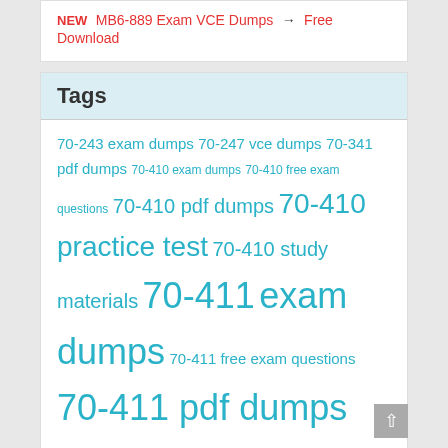NEW MB6-889 Exam VCE Dumps → Free Download
Tags
70-243 exam dumps 70-247 vce dumps 70-341 pdf dumps 70-410 exam dumps 70-410 free exam questions 70-410 pdf dumps 70-410 practice test 70-410 study materials 70-411 exam dumps 70-411 free exam questions 70-411 pdf dumps 70-411 vce dumps 70-412 exam dumps 70-412 free exam questions 70-412 pdf dumps 70-412 practice test 70-412 study materials 70-412 vce dumps 70-413 practice test 70-413 study guide 70-414 free exam questions 70-414 study materials 70-573 exam dumps 70-573